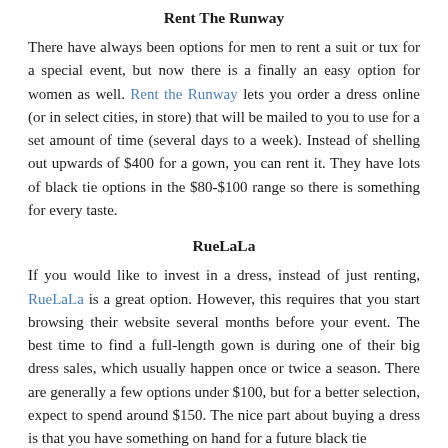Rent The Runway
There have always been options for men to rent a suit or tux for a special event, but now there is a finally an easy option for women as well. Rent the Runway lets you order a dress online (or in select cities, in store) that will be mailed to you to use for a set amount of time (several days to a week). Instead of shelling out upwards of $400 for a gown, you can rent it. They have lots of black tie options in the $80-$100 range so there is something for every taste.
RueLaLa
If you would like to invest in a dress, instead of just renting, RueLaLa is a great option. However, this requires that you start browsing their website several months before your event. The best time to find a full-length gown is during one of their big dress sales, which usually happen once or twice a season. There are generally a few options under $100, but for a better selection, expect to spend around $150. The nice part about buying a dress is that you have something on hand for a future black tie